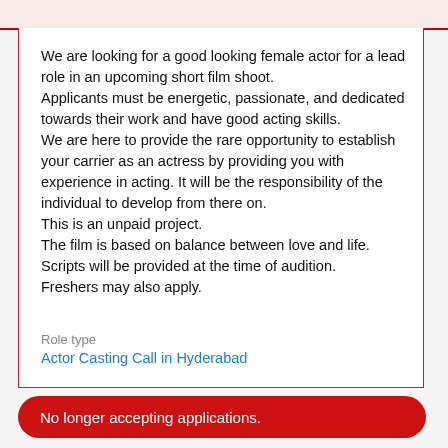We are looking for a good looking female actor for a lead role in an upcoming short film shoot. Applicants must be energetic, passionate, and dedicated towards their work and have good acting skills. We are here to provide the rare opportunity to establish your carrier as an actress by providing you with experience in acting. It will be the responsibility of the individual to develop from there on. This is an unpaid project. The film is based on balance between love and life. Scripts will be provided at the time of audition. Freshers may also apply.
Role type
Actor Casting Call in Hyderabad
No longer accepting applications.